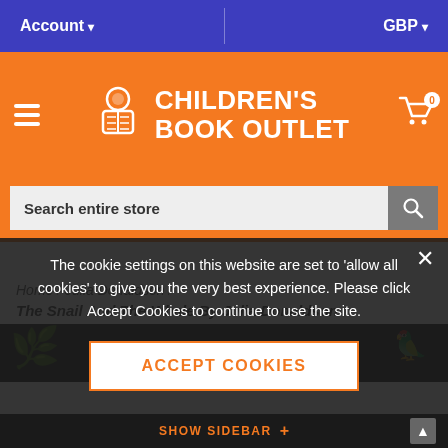[Figure (screenshot): Children's Book Outlet e-commerce website screenshot showing top navigation bar with Account and GBP options, orange header with logo, search bar, breadcrumb navigation, and a cookie consent overlay with an Accept Cookies button.]
Account   GBP
CHILDREN'S BOOK OUTLET
Search entire store
Home / Julia Donaldson /
The Snail And The Whale By Julia Donaldson
The cookie settings on this website are set to 'allow all cookies' to give you the very best experience. Please click Accept Cookies to continue to use the site.
ACCEPT COOKIES
SHOW SIDEBAR +